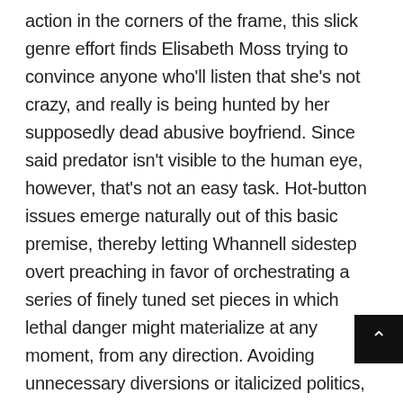action in the corners of the frame, this slick genre effort finds Elisabeth Moss trying to convince anyone who'll listen that she's not crazy, and really is being hunted by her supposedly dead abusive boyfriend. Since said predator isn't visible to the human eye, however, that's not an easy task. Hot-button issues emerge naturally out of this basic premise, thereby letting Whannell sidestep overt preaching in favor of orchestrating a series of finely tuned set pieces in which lethal danger might materialize at any moment, from any direction. Avoiding unnecessary diversions or italicized politics, the filmmaker streamlines his tale into a ferocious game of cat-and-mouse, with Moss commanding the spotlight as a woman tormented both physically and psychologically, and determined to fight back against her misogynistic victimization.

Apart from its original movies, such as El Camino: A